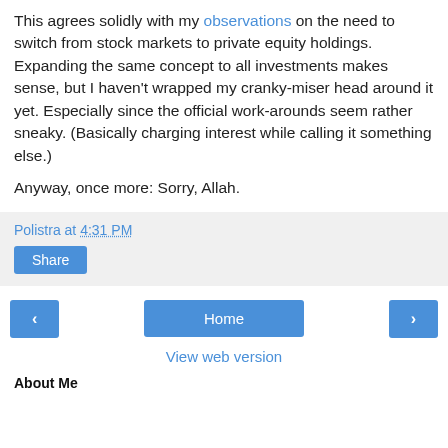This agrees solidly with my observations on the need to switch from stock markets to private equity holdings. Expanding the same concept to all investments makes sense, but I haven't wrapped my cranky-miser head around it yet. Especially since the official work-arounds seem rather sneaky. (Basically charging interest while calling it something else.)
Anyway, once more: Sorry, Allah.
Polistra at 4:31 PM
Share
‹
Home
›
View web version
About Me